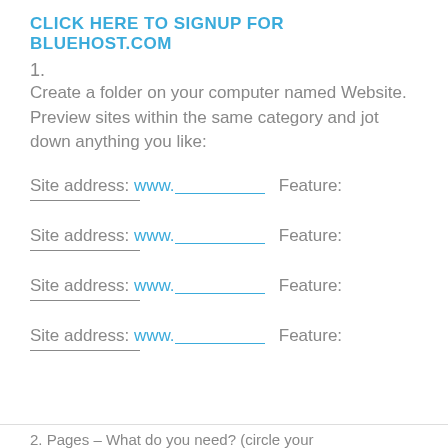CLICK HERE TO SIGNUP FOR BLUEHOST.COM
1.
Create a folder on your computer named Website.
 Preview sites within the same category and jot down anything you like:
Site address: www.__________ Feature:
__________
Site address: www.__________ Feature:
__________
Site address: www.__________ Feature:
__________
Site address: www.__________ Feature:
__________
2. Pages – What do you need? (circle your